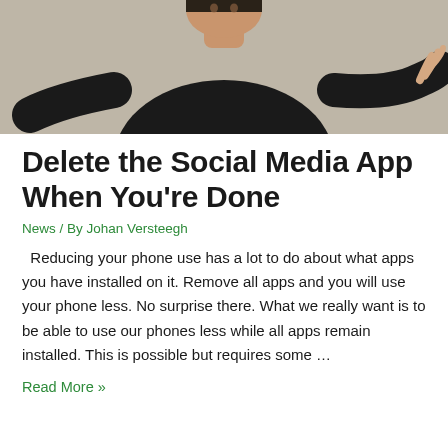[Figure (photo): A man in a black long-sleeve shirt with arms slightly raised, photographed from the chest up against a light gray/beige background.]
Delete the Social Media App When You're Done
News / By Johan Versteegh
Reducing your phone use has a lot to do about what apps you have installed on it. Remove all apps and you will use your phone less. No surprise there. What we really want is to be able to use our phones less while all apps remain installed. This is possible but requires some …
Read More »